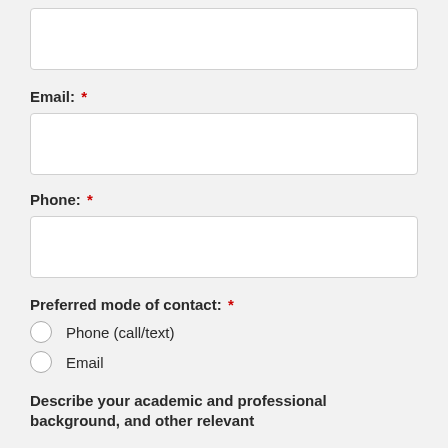(text input box - top, partial)
Email: *
(email input box)
Phone: *
(phone input box)
Preferred mode of contact: *
Phone (call/text)
Email
Describe your academic and professional background, and other relevant